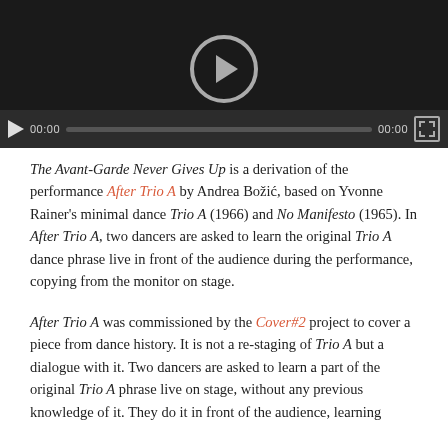[Figure (screenshot): Video player with dark background, large circular play button in center, and a controls bar at bottom showing play button, 00:00 timestamp, progress bar, 00:00 timestamp, and fullscreen button.]
The Avant-Garde Never Gives Up is a derivation of the performance After Trio A by Andrea Božić, based on Yvonne Rainer's minimal dance Trio A (1966) and No Manifesto (1965). In After Trio A, two dancers are asked to learn the original Trio A dance phrase live in front of the audience during the performance, copying from the monitor on stage.
After Trio A was commissioned by the Cover#2 project to cover a piece from dance history. It is not a re-staging of Trio A but a dialogue with it. Two dancers are asked to learn a part of the original Trio A phrase live on stage, without any previous knowledge of it. They do it in front of the audience, learning...